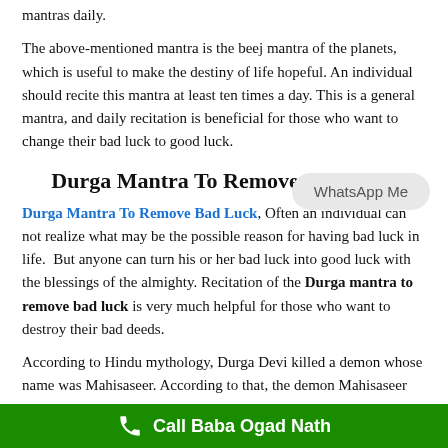mantras daily.
The above-mentioned mantra is the beej mantra of the planets, which is useful to make the destiny of life hopeful. An individual should recite this mantra at least ten times a day. This is a general mantra, and daily recitation is beneficial for those who want to change their bad luck to good luck.
Durga Mantra To Remove Bad Luck
Durga Mantra To Remove Bad Luck, Often an individual can not realize what may be the possible reason for having bad luck in life. But anyone can turn his or her bad luck into good luck with the blessings of the almighty. Recitation of the Durga mantra to remove bad luck is very much helpful for those who want to destroy their bad deeds.
According to Hindu mythology, Durga Devi killed a demon whose name was Mahisaseer. According to that, the demon Mahisaseer
[Figure (other): WhatsApp Me bubble overlay]
Call Baba Ogad Nath